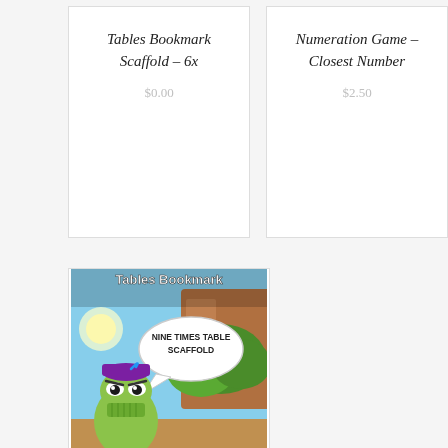Tables Bookmark Scaffold – 6x
$0.00
Numeration Game – Closest Number
$2.50
[Figure (illustration): Cartoon book product cover showing a grumpy green pear-shaped monster with a purple cap and speech bubble saying 'NINE TIMES TABLE SCAFFOLD', with a jungle/rocky background. Title 'Tables Bookmark' at top in bold white text.]
Tables